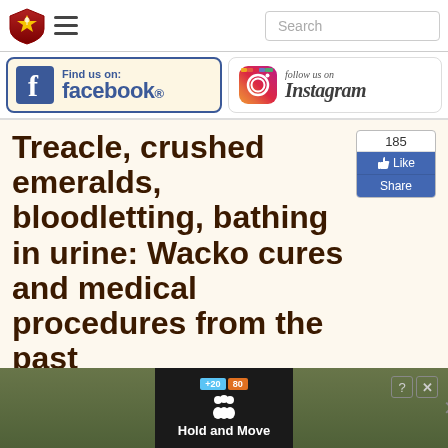Search
[Figure (logo): Find us on facebook banner with Facebook logo icon]
[Figure (logo): Follow us on Instagram banner with Instagram camera icon]
Treacle, crushed emeralds, bloodletting, bathing in urine: Wacko cures and medical procedures from the past
Nov 26, 2017 Boban Docevski
[Figure (screenshot): Advertisement bar at bottom showing Hold and Move app with trees background]